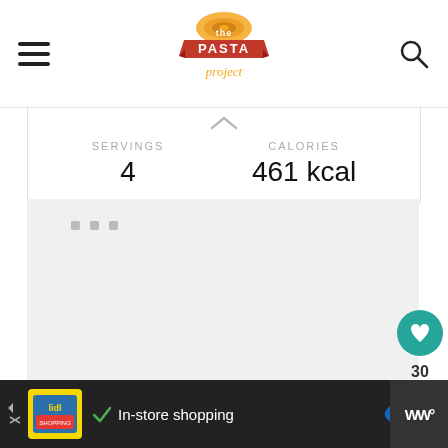[Figure (logo): The Pasta Project website logo with red banner, orange pasta graphic, and script text]
SERVINGS
4
CALORIES
461 kcal
[Figure (screenshot): Gray loading placeholder area with three small gray square dots]
[Figure (infographic): Teal circle button with heart icon, showing count 30, and white circle share button]
[Figure (infographic): Dark advertisement bar at bottom: Lidl yellow ad with checkmark, In-store shopping text, blue direction sign icon, and WW logo]